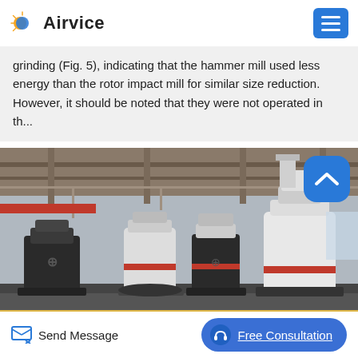Airvice
grinding (Fig. 5), indicating that the hammer mill used less energy than the rotor impact mill for similar size reduction. However, it should be noted that they were not operated in th...
[Figure (photo): Industrial interior showing multiple grinding/milling machines (white and black cylindrical units with red bands) in a factory setting with steel beams and pipes overhead.]
Send Message | Free Consultation